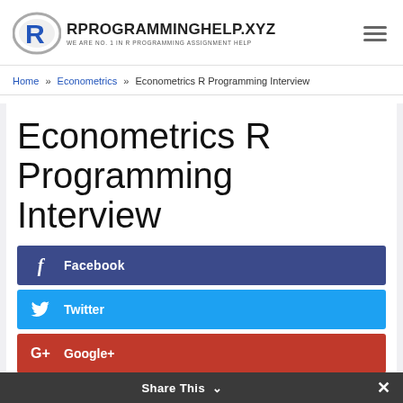[Figure (logo): RProgrammingHelp.xyz logo with stylized R icon and tagline 'WE ARE NO. 1 IN R PROGRAMMING ASSIGNMENT HELP']
Home » Econometrics » Econometrics R Programming Interview
Econometrics R Programming Interview
Facebook
Twitter
Google+
Share This
reddit